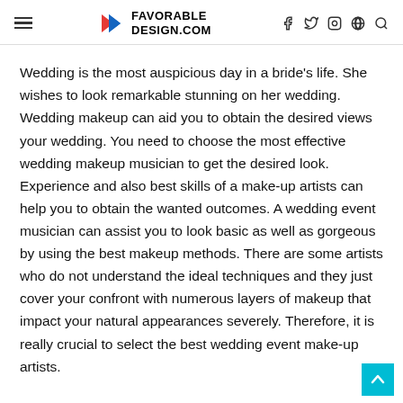FAVORABLE DESIGN.COM
Wedding is the most auspicious day in a bride's life. She wishes to look remarkable stunning on her wedding. Wedding makeup can aid you to obtain the desired views your wedding. You need to choose the most effective wedding makeup musician to get the desired look. Experience and also best skills of a make-up artists can help you to obtain the wanted outcomes. A wedding event musician can assist you to look basic as well as gorgeous by using the best makeup methods. There are some artists who do not understand the ideal techniques and they just cover your confront with numerous layers of makeup that impact your natural appearances severely. Therefore, it is really crucial to select the best wedding event make-up artists.